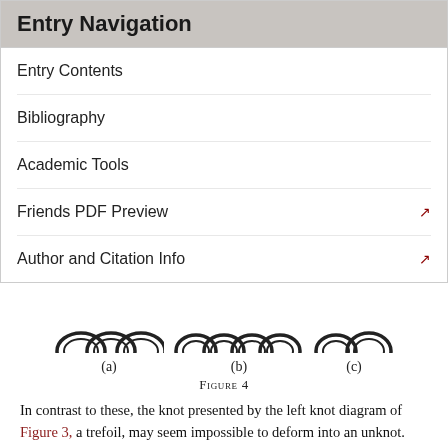Entry Navigation
Entry Contents
Bibliography
Academic Tools
Friends PDF Preview
Author and Citation Info
[Figure (illustration): Three knot diagrams labeled (a), (b), and (c), showing curved arc patterns representing knot projections.]
Figure 4
In contrast to these, the knot presented by the left knot diagram of Figure 3, a trefoil, may seem impossible to deform into an unknot. And in fact it is. To prove it, we can use a knot invariant known as colourability. An arc in a knot diagram is a maximal part between crossings (or the whole thing if there are no crossings). Colourability is this: